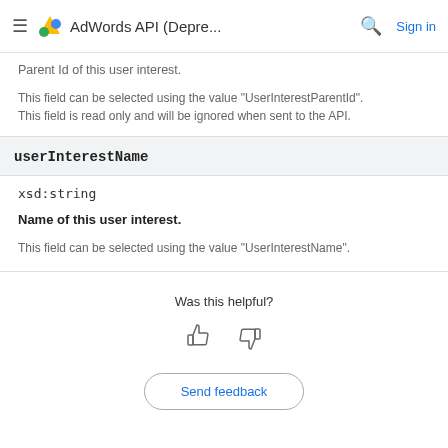AdWords API (Depre... Sign in
Parent Id of this user interest.
This field can be selected using the value "UserInterestParentId".
This field is read only and will be ignored when sent to the API.
userInterestName
xsd:string
Name of this user interest.
This field can be selected using the value "UserInterestName".
Was this helpful?
[Figure (other): Thumbs up and thumbs down feedback icons]
Send feedback